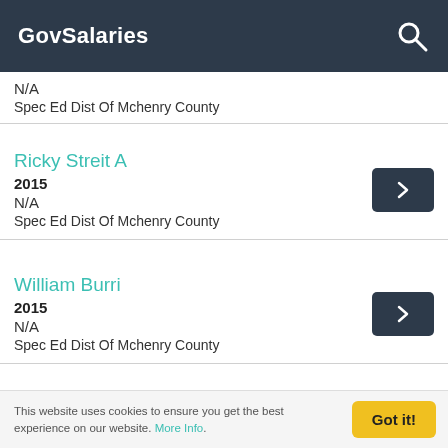GovSalaries
N/A
Spec Ed Dist Of Mchenry County
Ricky Streit A
2015
N/A
Spec Ed Dist Of Mchenry County
William Burri
2015
N/A
Spec Ed Dist Of Mchenry County
Laura Knight R
This website uses cookies to ensure you get the best experience on our website. More Info.